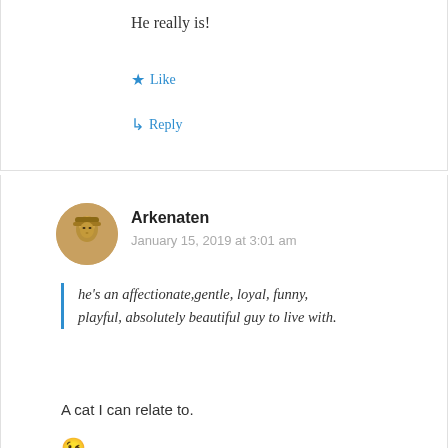He really is!
Like
Reply
Arkenaten
January 15, 2019 at 3:01 am
he’s an affectionate,gentle, loyal, funny, playful, absolutely beautiful guy to live with.
A cat I can relate to.
😉
Liked by 1 person